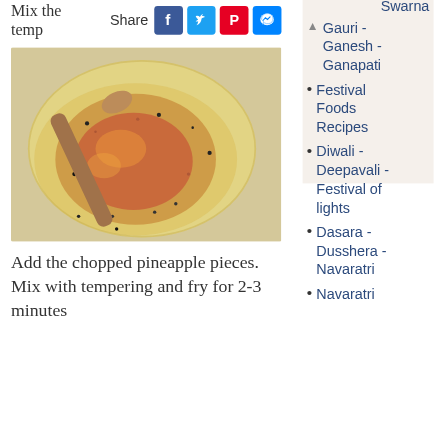Mix the temp
Share
[Figure (photo): Food being cooked in a pan with a wooden spoon, showing tempering with spices and bubbling oil]
Add the chopped pineapple pieces. Mix with tempering and fry for 2-3 minutes
Swarna
Gauri - Ganesh - Ganapati
Festival Foods Recipes
Diwali - Deepavali - Festival of lights
Dasara - Dusshera - Navaratri
Navaratri